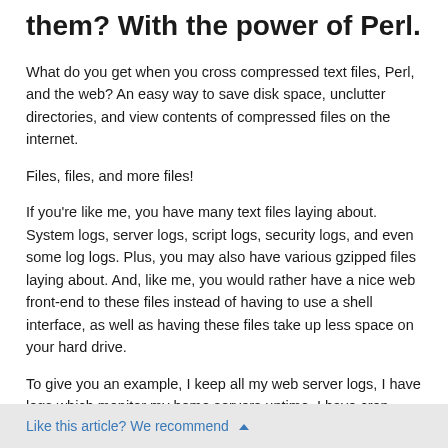them? With the power of Perl.
What do you get when you cross compressed text files, Perl, and the web? An easy way to save disk space, unclutter directories, and view contents of compressed files on the internet.
Files, files, and more files!
If you're like me, you have many text files laying about. System logs, server logs, script logs, security logs, and even some log logs. Plus, you may also have various gzipped files laying about. And, like me, you would rather have a nice web front-end to these files instead of having to use a shell interface, as well as having these files take up less space on your hard drive.
To give you an example, I keep all my web server logs, I have logs which monitor my home servers uptime, I have cron logs, and some gzipped software which I keep around to peek at the source files from time to time. All these files can really take up a lot of space as
Like this article? We recommend